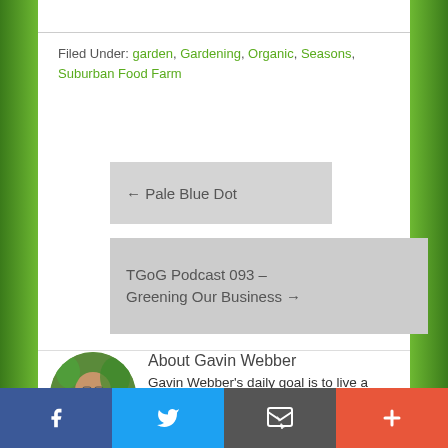Filed Under: garden, Gardening, Organic, Seasons, Suburban Food Farm
← Pale Blue Dot
TGoG Podcast 093 – Greening Our Business →
About Gavin Webber
Gavin Webber's daily goal is to live a more sustainable lifestyle, in an
[Figure (photo): Photo of Gavin Webber holding vegetables, circular crop]
Facebook | Twitter | Email | Plus